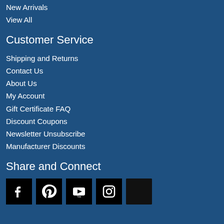New Arrivals
View All
Customer Service
Shipping and Returns
Contact Us
About Us
My Account
Gift Certificate FAQ
Discount Coupons
Newsletter Unsubscribe
Manufacturer Discounts
Share and Connect
[Figure (illustration): Social media icons: Facebook, Pinterest, YouTube, Instagram, and a partially visible circular icon]